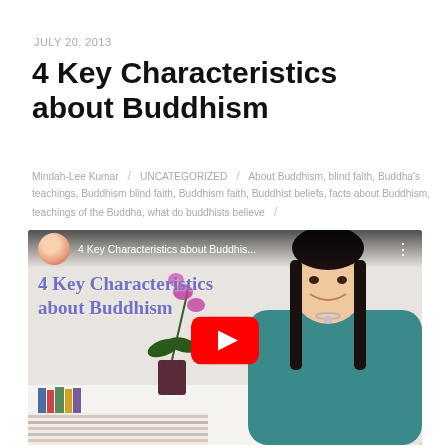JULY 20, 2013
4 Key Characteristics about Buddhism
Mindah-Lee Kumar / UNCATEGORIZED / About Buddhism, blind faith, Buddha's teachings, Buddhism blind faith, Buddhism faith, Buddhist beliefs, facts about Buddhism, teachings of the Buddha, what do buddhists believe /
[Figure (screenshot): YouTube video thumbnail showing a woman in a teal top smiling, with text '4 Key Characteristics about Buddhism' and a YouTube play button overlay. A Buddha statue and orchid plant are visible in the background.]